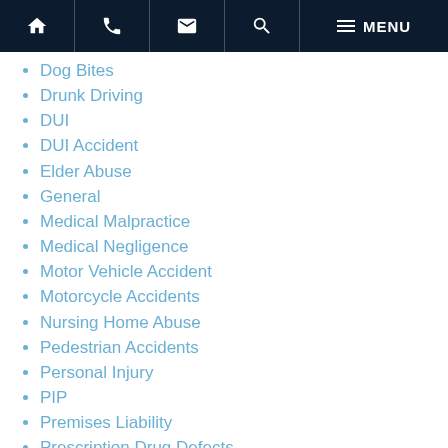Navigation bar with home, phone, email, search, and menu icons
Dog Bites
Drunk Driving
DUI
DUI Accident
Elder Abuse
General
Medical Malpractice
Medical Negligence
Motor Vehicle Accident
Motorcycle Accidents
Nursing Home Abuse
Pedestrian Accidents
Personal Injury
PIP
Premises Liability
Prescription Drug Defects
Products Liability
Slip And Fall
Spinal Cord Injuries
Sports Injuries